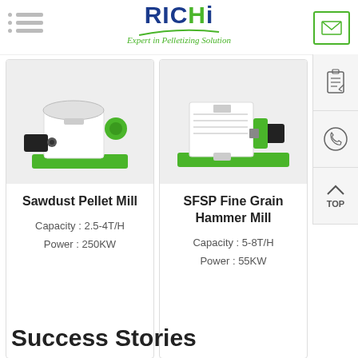[Figure (logo): RICHI logo with green swoosh and tagline 'Expert in Pelletizing Solution']
[Figure (photo): Sawdust Pellet Mill machine, green and white industrial pellet mill]
Sawdust Pellet Mill
Capacity : 2.5-4T/H
Power : 250KW
[Figure (photo): SFSP Fine Grain Hammer Mill machine, green industrial hammer mill]
SFSP Fine Grain Hammer Mill
Capacity : 5-8T/H
Power : 55KW
Success Stories